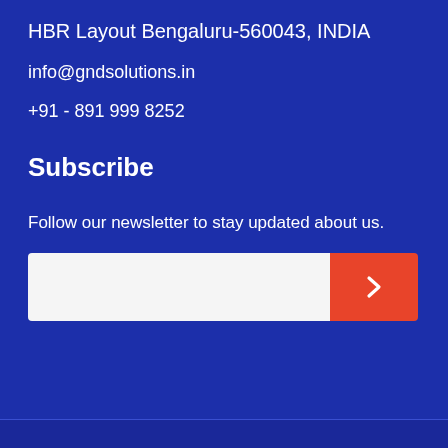HBR Layout Bengaluru-560043, INDIA
info@gndsolutions.in
+91 - 891 999 8252
Subscribe
Follow our newsletter to stay updated about us.
[Figure (other): Email subscription input field with white text box and orange/red submit button with right chevron arrow]